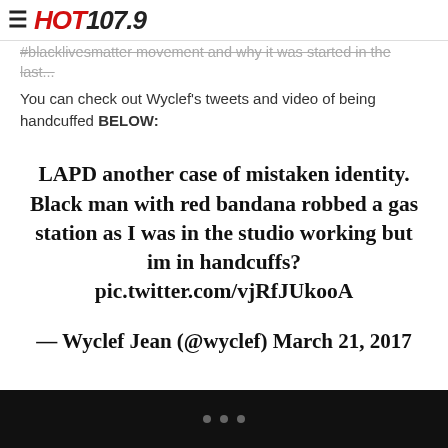HOT 107.9
You can check out Wyclef's tweets and video of being handcuffed BELOW:
LAPD another case of mistaken identity. Black man with red bandana robbed a gas station as I was in the studio working but im in handcuffs? pic.twitter.com/vjRfJUkooA — Wyclef Jean (@wyclef) March 21, 2017
• • •